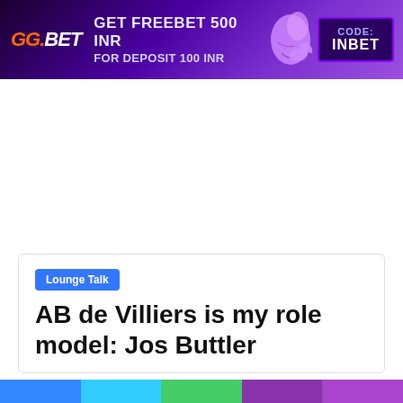[Figure (infographic): GG.BET advertisement banner: 'GET FREEBET 500 INR FOR DEPOSIT 100 INR' with CODE: INBET, purple gradient background with cricket ball graphic]
Navigation bar with hamburger menu icon
Lounge Talk
AB de Villiers is my role model: Jos Buttler